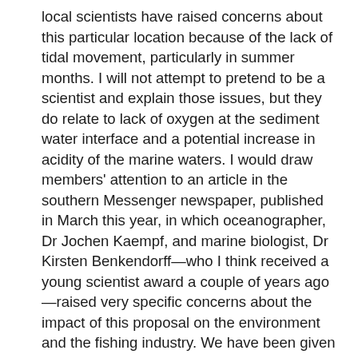local scientists have raised concerns about this particular location because of the lack of tidal movement, particularly in summer months. I will not attempt to pretend to be a scientist and explain those issues, but they do relate to lack of oxygen at the sediment water interface and a potential increase in acidity of the marine waters. I would draw members' attention to an article in the southern Messenger newspaper, published in March this year, in which oceanographer, Dr Jochen Kaempf, and marine biologist, Dr Kirsten Benkendorff—who I think received a young scientist award a couple of years ago—raised very specific concerns about the impact of this proposal on the environment and the fishing industry. We have been given reassurances. I think Dr Alan Holmes has said on radio that the desalination plant will not have a negative impact on the marine environment; however, the water that is returned to the gulf has twice the salinity of ordinary seawater. These scientists have raised the concern about low oxygen content, which will greatly threaten squid eggs, I think, in particular.